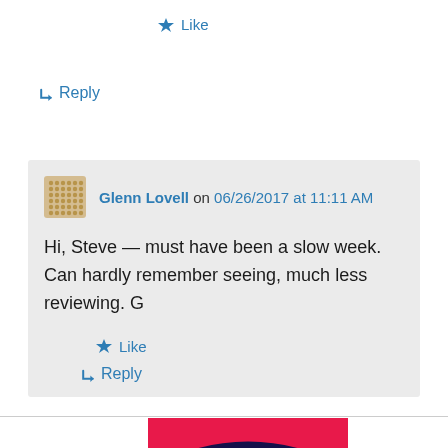★ Like
↳ Reply
Glenn Lovell on 06/26/2017 at 11:11 AM
Hi, Steve — must have been a slow week. Can hardly remember seeing, much less reviewing. G
★ Like
↳ Reply
[Figure (photo): Partial view of a colorful abstract image with pink/red and dark blue/black concentric curves at the bottom of the page]